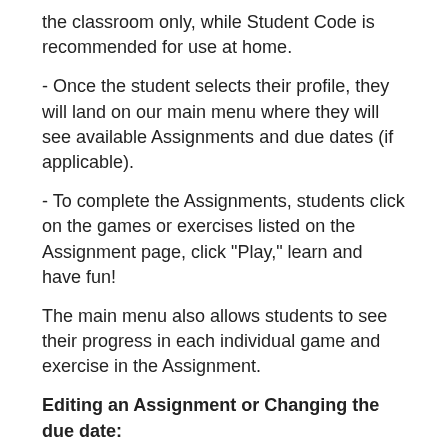the classroom only, while Student Code is recommended for use at home.
- Once the student selects their profile, they will land on our main menu where they will see available Assignments and due dates (if applicable).
- To complete the Assignments, students click on the games or exercises listed on the Assignment page, click "Play," learn and have fun!
The main menu also allows students to see their progress in each individual game and exercise in the Assignment.
Editing an Assignment or Changing the due date:
- To access your Assignments, sign in to your account and click on your Premium user ID in the top right-hand corner of any page.
- You can then select “Assignments.” You’ll be able to make edits to Assignments, change due dates, or inactivate.